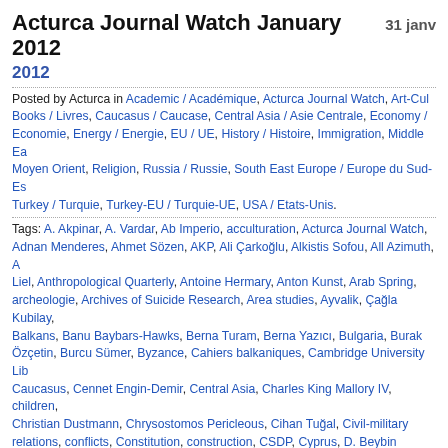Acturca Journal Watch January 2012   31 janv
2012
Posted by Acturca in Academic / Académique, Acturca Journal Watch, Art-Culture / Art-Culture, Books / Livres, Caucasus / Caucase, Central Asia / Asie Centrale, Economy / Economie, Energy / Energie, EU / UE, History / Histoire, Immigration, Middle East / Moyen Orient, Religion, Russia / Russie, South East Europe / Europe du Sud-Est, Turkey / Turquie, Turkey-EU / Turquie-UE, USA / Etats-Unis.
Tags: A. Akpinar, A. Vardar, Ab Imperio, acculturation, Acturca Journal Watch, Adnan Menderes, Ahmet Sözen, AKP, Ali Çarkoğlu, Alkistis Sofou, All Azimuth, A. Liel, Anthropological Quarterly, Antoine Hermary, Anton Kunst, Arab Spring, archeologie, Archives of Suicide Research, Area studies, Ayvalik, Çağla Kubilay, Balkans, Banu Baybars-Hawks, Berna Turam, Berna Yazıcı, Bulgaria, Burak Özçetin, Burcu Sümer, Byzance, Cahiers balkaniques, Cambridge University Library, Caucasus, Cennet Engin-Demir, Central Asia, Charles King Mallory IV, children, Christian Dustmann, Chrysostomos Pericleous, Cihan Tuğal, Civil-military relations, conflicts, Constitution, construction, CSDP, Cyprus, D. Beybin Kejanlıoğlu, David P. Goldman, Demet Yalçın Mousseau, democracy, Democratization, development, Development and Change, Dilek Özceylan, Dimitar Bechev, discourse analysis, Diyanet, Doğan Gurpinar, Dual Nationality, e-democracy, E. Fuat Keyman, E. Simsek, E.G. Browne, Economic Policy, economy, Educational policies, Egypt, Elçin Macar, elections, electoral behaviour, electricity energy, Eleonora Naxidou, Emre Erol, Emre Iseri, Energy Sources, Enis Dinç, Ergün Özbudun, Eric X. Li, Erman Coskun, Ersel Aydinli, Etain Tannam, ethnic minorities, EU, Eugen Stark, European Journal, Eveline Reisenauer, F. Tavşan, Faruk Bilici, Félix Sartiaux, Feminist Economics, Foreign Policy, foreign policy, Firat Cengiz, Gareth Chappell, Güliz Sütçü, Gülsüm Polat, gender, George M. Thomas, Georges Kostakiotis, Gergana Noutcheva, Germany, Gianaris